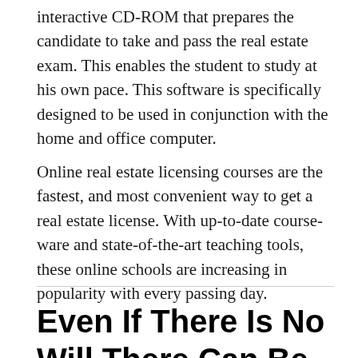interactive CD-ROM that prepares the candidate to take and pass the real estate exam. This enables the student to study at his own pace. This software is specifically designed to be used in conjunction with the home and office computer.
Online real estate licensing courses are the fastest, and most convenient way to get a real estate license. With up-to-date course-ware and state-of-the-art teaching tools, these online schools are increasing in popularity with every passing day.
Even If There Is No Will There Can Be Probate